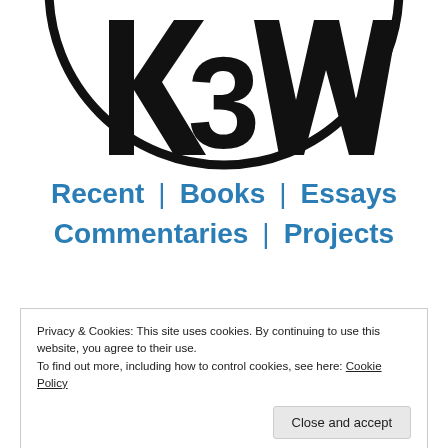[Figure (logo): Circular black and white logo with stylized letters, partially cropped at top]
Recent | Books | Essays
Commentaries | Projects
Privacy & Cookies: This site uses cookies. By continuing to use this website, you agree to their use.
To find out more, including how to control cookies, see here: Cookie Policy
Close and accept